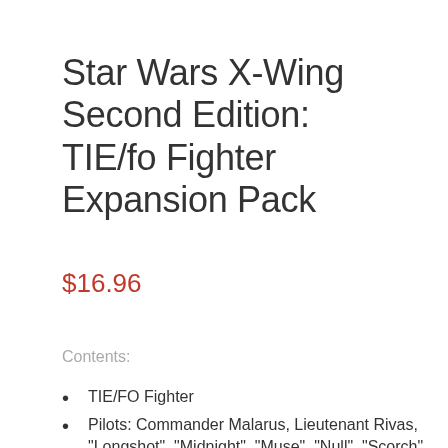Star Wars X-Wing Second Edition: TIE/fo Fighter Expansion Pack
$16.96
Contents:
TIE/FO Fighter
Pilots: Commander Malarus, Lieutenant Rivas, “Longshot”, “Midnight”, “Muse”, “Null”, “Scorch”, “Static”, TN-3465, 1 Epsilon Squadron Cadet, 1 Omega Squadron Ace, 1 Zeta Squadron Pilot
Upgrades: 1 Advanced Optics, 1 Fanatical, 1 Crack Shot, 1 C...